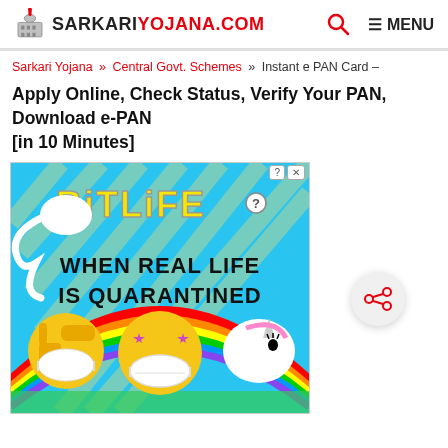SARKARIYOJANA.COM | MENU
Sarkari Yojana » Central Govt. Schemes » Instant e PAN Card – Apply Online, Check Status, Verify Your PAN, Download e-PAN [in 10 Minutes]
Apply Online, Check Status, Verify Your PAN, Download e-PAN [in 10 Minutes]
[Figure (illustration): BitLife advertisement banner with colorful animated characters including a unicorn, thumbs up emoji with mask, and rainbow background. Text reads: BitLife - WHEN REAL LIFE IS QUARANTINED]
[Figure (infographic): Share button - circular grey button with share/network icon in red]